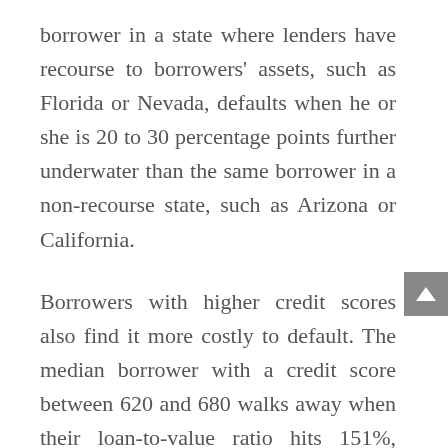borrower in a state where lenders have recourse to borrowers' assets, such as Florida or Nevada, defaults when he or she is 20 to 30 percentage points further underwater than the same borrower in a non-recourse state, such as Arizona or California.
Borrowers with higher credit scores also find it more costly to default. The median borrower with a credit score between 620 and 680 walks away when their loan-to-value ratio hits 151%, while the median borrowers with a credit score above 720 walks away with a loan-to-value ratio of 168%.